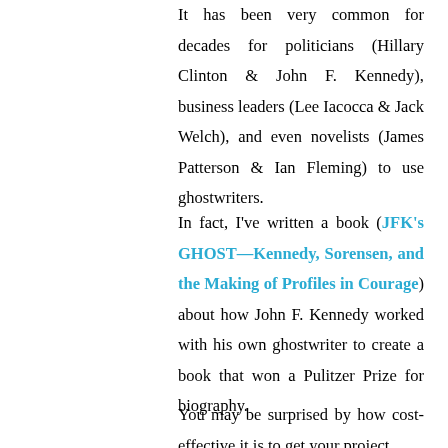It has been very common for decades for politicians (Hillary Clinton & John F. Kennedy), business leaders (Lee Iacocca & Jack Welch), and even novelists (James Patterson & Ian Fleming) to use ghostwriters.
In fact, I've written a book (JFK's GHOST—Kennedy, Sorensen, and the Making of Profiles in Courage) about how John F. Kennedy worked with his own ghostwriter to create a book that won a Pulitzer Prize for biography.
You may be surprised by how cost-effective it is to get your project...